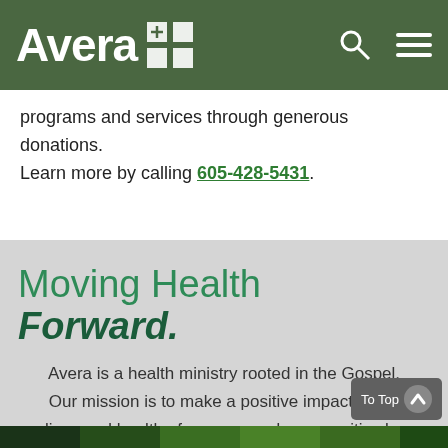Avera [logo]
programs and services through generous donations. Learn more by calling 605-428-5431.
Moving Health Forward.
Avera is a health ministry rooted in the Gospel. Our mission is to make a positive impact in the lives and health of persons and communities by providing quality services guided by Christian values.